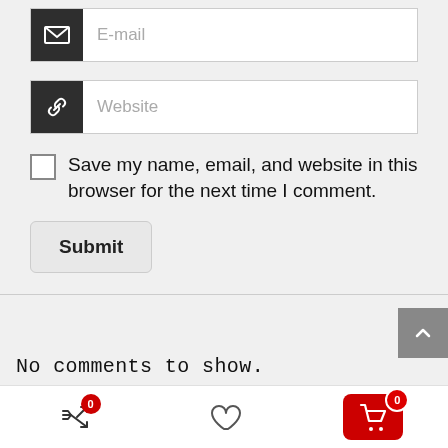[Figure (screenshot): E-mail input field with dark icon square on left and white input area on right]
[Figure (screenshot): Website input field with dark link icon square on left and white input area on right]
Save my name, email, and website in this browser for the next time I comment.
[Figure (screenshot): Submit button]
No comments to show.
[Figure (screenshot): Bottom navigation bar with shuffle icon (badge 0), heart icon, and red cart icon (badge 0)]